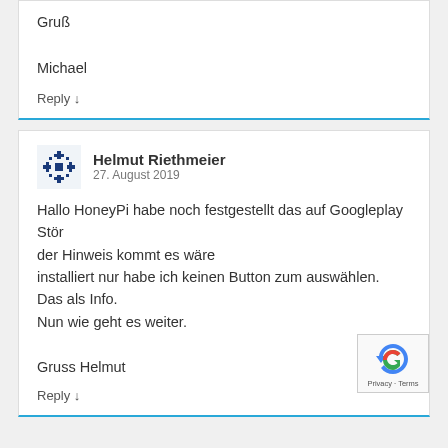Gruß

Michael
Reply ↓
Helmut Riethmeier
27. August 2019
Hallo HoneyPi habe noch festgestellt das auf Googleplay Stör der Hinweis kommt es wäre installiert nur habe ich keinen Button zum auswählen. Das als Info. Nun wie geht es weiter.

Gruss Helmut
Reply ↓